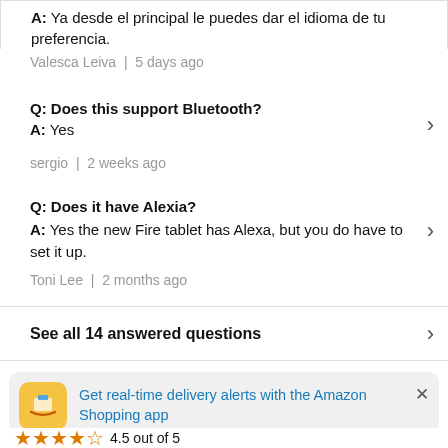A: Ya desde el principal le puedes dar el idioma de tu preferencia.
Valesca Leiva | 5 days ago
Q: Does this support Bluetooth?
A: Yes
sergio | 2 weeks ago
Q: Does it have Alexia?
A: Yes the new Fire tablet has Alexa, but you do have to set it up.
Toni Lee | 2 months ago
See all 14 answered questions
Get real-time delivery alerts with the Amazon Shopping app
4.5 out of 5